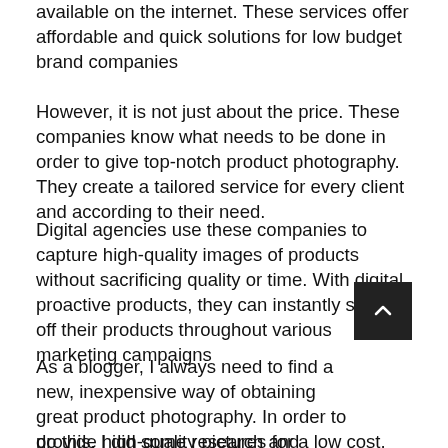available on the internet. These services offer affordable and quick solutions for low budget brand companies
However, it is not just about the price. These companies know what needs to be done in order to give top-notch product photography. They create a tailored service for every client and according to their need.
Digital agencies use these companies to capture high-quality images of products without sacrificing quality or time. With digital proactive products, they can instantly show off their products throughout various marketing campaigns
As a blogger, I always need to find a new, inexpensive way of obtaining great product photography. In order to do this, I did some research and found that many companies provide high-quality pictures for a low cost.
This is mainly due to the fact that they don't have the time or the money to invest in these activities. Amazon and